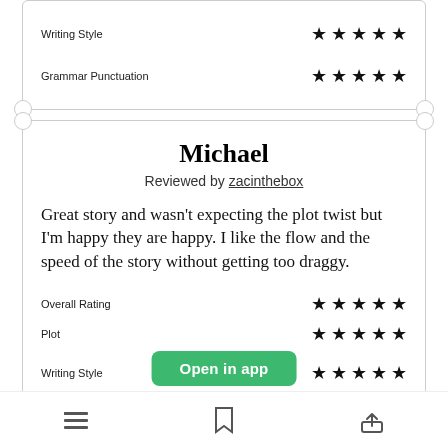Writing Style
★★★★★ (5 stars)
Grammar Punctuation
★★★★★ (5 stars)
Michael
Reviewed by zacinthebox
Great story and wasn't expecting the plot twist but I'm happy they are happy. I like the flow and the speed of the story without getting too draggy.
Overall Rating ★★★★★
Plot ★★★★★
Writing Style ★★★★★
Grammar Punctuation ★★★★★
[Figure (other): Open in app button (green)]
[Figure (other): Bottom navigation bar with list, bookmark, and share icons]